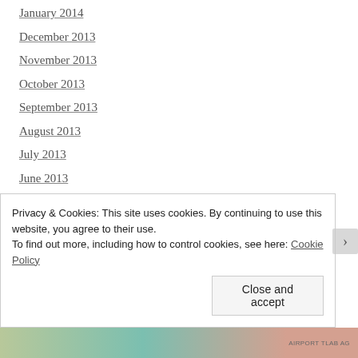January 2014
December 2013
November 2013
October 2013
September 2013
August 2013
July 2013
June 2013
May 2013
April 2013
March 2013
February 2013
Privacy & Cookies: This site uses cookies. By continuing to use this website, you agree to their use.
To find out more, including how to control cookies, see here: Cookie Policy
Close and accept